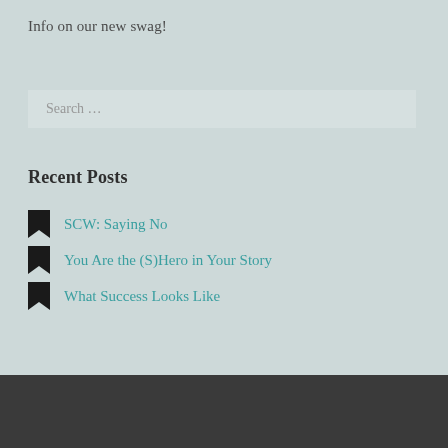Info on our new swag!
Search …
Recent Posts
SCW: Saying No
You Are the (S)Hero in Your Story
What Success Looks Like
Follow Us